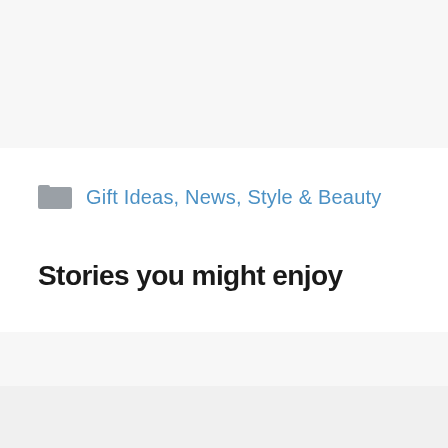Gift Ideas, News, Style & Beauty
Stories you might enjoy